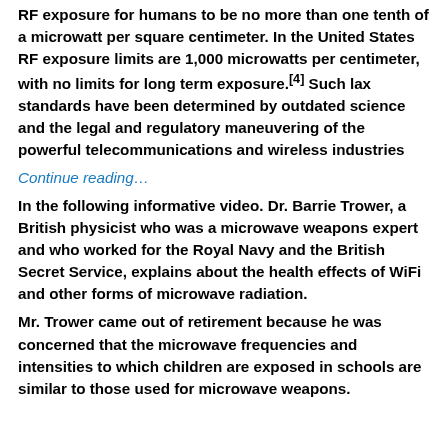RF exposure for humans to be no more than one tenth of a microwatt per square centimeter. In the United States RF exposure limits are 1,000 microwatts per centimeter, with no limits for long term exposure.[4] Such lax standards have been determined by outdated science and the legal and regulatory maneuvering of the powerful telecommunications and wireless industries
Continue reading…
In the following informative video. Dr. Barrie Trower, a British physicist who was a microwave weapons expert and who worked for the Royal Navy and the British Secret Service, explains about the health effects of WiFi and other forms of microwave radiation.
Mr. Trower came out of retirement because he was concerned that the microwave frequencies and intensities to which children are exposed in schools are similar to those used for microwave weapons.